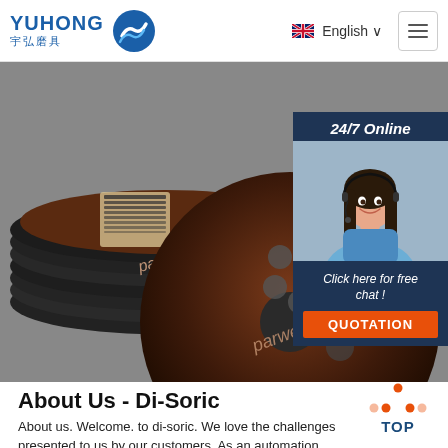YUHONG 宇弘磨具 | English | hamburger menu
[Figure (photo): Stack of abrasive cutting discs branded 'parweld', dark circular discs with barcode label, product photography]
[Figure (infographic): Chat widget overlay: '24/7 Online', photo of female customer service agent with headset, 'Click here for free chat!', orange QUOTATION button]
About Us - Di-Soric
[Figure (other): TOP scroll-to-top button with orange dot triangle icon]
About us. Welcome. to di-soric. We love the challenges presented to us by our customers. As an automation